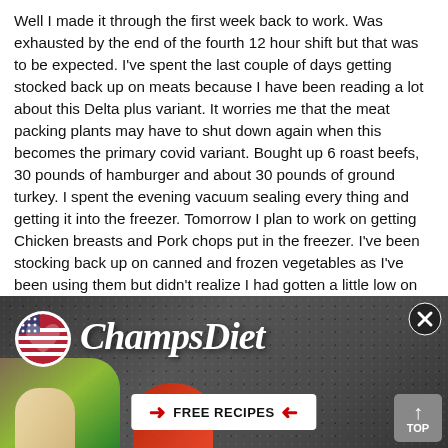Well I made it through the first week back to work. Was exhausted by the end of the fourth 12 hour shift but that was to be expected. I've spent the last couple of days getting stocked back up on meats because I have been reading a lot about this Delta plus variant. It worries me that the meat packing plants may have to shut down again when this becomes the primary covid variant. Bought up 6 roast beefs, 30 pounds of hamburger and about 30 pounds of ground turkey. I spent the evening vacuum sealing every thing and getting it into the freezer. Tomorrow I plan to work on getting Chicken breasts and Pork chops put in the freezer. I've been stocking back up on canned and frozen vegetables as I've been using them but didn't realize I had gotten a little low on the meats.
A lot of the folks at work have started stocking up this time. I think they decided to follow my advice this time around. LOL
We finally got some rain today! Thought there for a bit that I might have to get out in the backyard and learn to do a rain ... d looking any
[Figure (illustration): ChampsDiet advertisement banner with dark speckled background, American flag heart logo, cursive ChampsDiet title text, FREE RECIPES button with red arrows, food items visible at bottom, close X button top right, TOP scroll button bottom right]